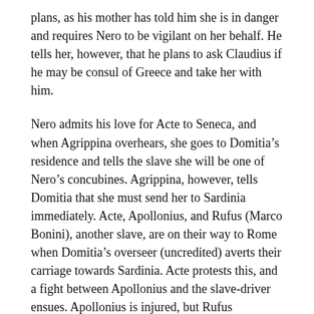plans, as his mother has told him she is in danger and requires Nero to be vigilant on her behalf. He tells her, however, that he plans to ask Claudius if he may be consul of Greece and take her with him.
Nero admits his love for Acte to Seneca, and when Agrippina overhears, she goes to Domitia's residence and tells the slave she will be one of Nero's concubines. Agrippina, however, tells Domitia that she must send her to Sardinia immediately. Acte, Apollonius, and Rufus (Marco Bonini), another slave, are on their way to Rome when Domitia's overseer (uncredited) averts their carriage towards Sardinia. Acte protests this, and a fight between Apollonius and the slave-driver ensues. Apollonius is injured, but Rufus incapacitates the slave-driver. They go to the house of Etius (Jochen Horst), a family friend, where Apollonius later dies of his injuries. At Rome,